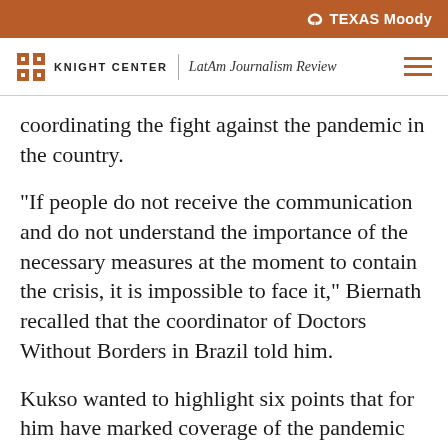TEXAS Moody
KNIGHT CENTER | LatAm Journalism Review
coordinating the fight against the pandemic in the country.
"If people do not receive the communication and do not understand the importance of the necessary measures at the moment to contain the crisis, it is impossible to face it," Biernath recalled that the coordinator of Doctors Without Borders in Brazil told him.
Kukso wanted to highlight six points that for him have marked coverage of the pandemic